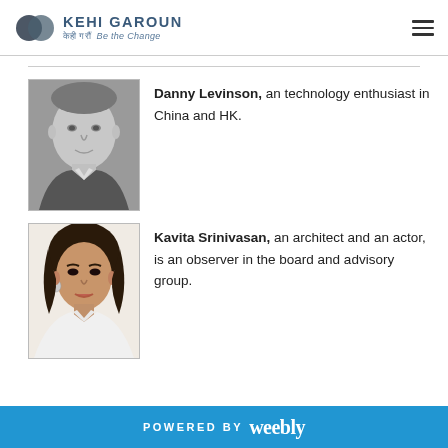KEHI GAROUN केही गरौं Be the Change
[Figure (photo): Black and white headshot of Danny Levinson, a man in a suit]
Danny Levinson, an technology enthusiast in China and HK.
[Figure (photo): Color photo of Kavita Srinivasan, a woman in white top]
Kavita Srinivasan, an architect and an actor, is an observer in the board and advisory group.
POWERED BY weebly